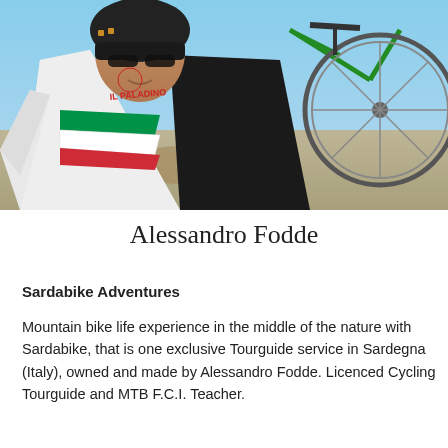[Figure (photo): A man wearing a cycling helmet and white cycling jersey with Italian flag colors and 'Paladino' branding, taking a selfie with a mountain bike visible behind him against a clear blue sky and outdoor terrain.]
Alessandro Fodde
Sardabike Adventures
Mountain bike life experience in the middle of the nature with Sardabike, that is one exclusive Tourguide service in Sardegna (Italy), owned and made by Alessandro Fodde. Licenced Cycling Tourguide and MTB F.C.I. Teacher.